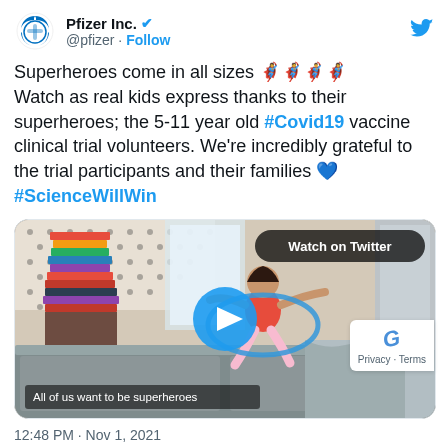[Figure (logo): Pfizer Inc. Twitter profile with logo, verified badge, @pfizer handle, Follow link, and Twitter bird icon]
Superheroes come in all sizes 🦸 🦸 🦸 🦸 Watch as real kids express thanks to their superheroes; the 5-11 year old #Covid19 vaccine clinical trial volunteers. We're incredibly grateful to the trial participants and their families 💙 #ScienceWillWin
[Figure (screenshot): Video thumbnail showing a child jumping on a couch with a hula hoop, polka dot wall background, Watch on Twitter button, play button, subtitle: All of us want to be superheroes]
12:48 PM · Nov 1, 2021